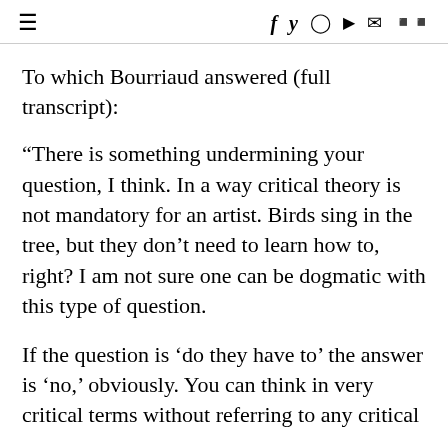≡  f y ⓘ ▶ ✉ ◀▶
To which Bourriaud answered (full transcript):
“There is something undermining your question, I think. In a way critical theory is not mandatory for an artist. Birds sing in the tree, but they don’t need to learn how to, right? I am not sure one can be dogmatic with this type of question.
If the question is ‘do they have to’ the answer is ‘no,’ obviously. You can think in very critical terms without referring to any critical